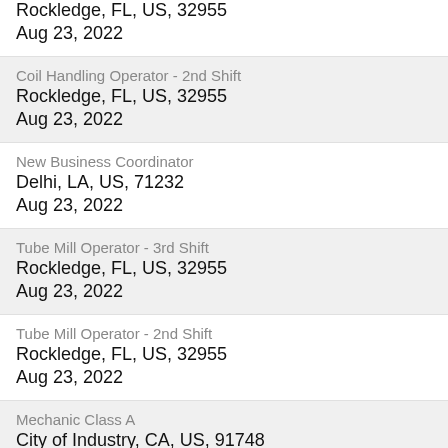Rockledge, FL, US, 32955
Aug 23, 2022
Coil Handling Operator - 2nd Shift
Rockledge, FL, US, 32955
Aug 23, 2022
New Business Coordinator
Delhi, LA, US, 71232
Aug 23, 2022
Tube Mill Operator - 3rd Shift
Rockledge, FL, US, 32955
Aug 23, 2022
Tube Mill Operator - 2nd Shift
Rockledge, FL, US, 32955
Aug 23, 2022
Mechanic Class A
City of Industry, CA, US, 91748
Aug 23, 2022